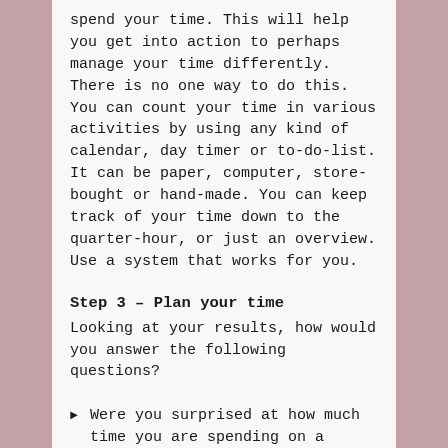spend your time. This will help you get into action to perhaps manage your time differently.
There is no one way to do this. You can count your time in various activities by using any kind of calendar, day timer or to-do-list. It can be paper, computer, store-bought or hand-made. You can keep track of your time down to the quarter-hour, or just an overview. Use a system that works for you.
Step 3 – Plan your time
Looking at your results, how would you answer the following questions?
Were you surprised at how much time you are spending on a particular activity?
Were you surprised at how little time